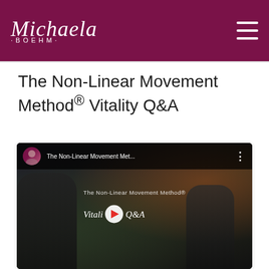Michaela Boehm
The Non-Linear Movement Method® Vitality Q&A
[Figure (screenshot): YouTube video embed thumbnail for 'The Non-Linear Movement Met...' by The Non-Linear Movement Method®, showing a play button overlay with italic text 'Vitality Q&A' and a dark background with people figures]